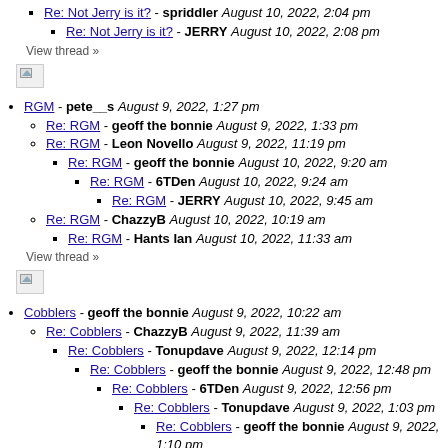Re: Not Jerry is it? - spriddler August 10, 2022, 2:04 pm
Re: Not Jerry is it? - JERRY August 10, 2022, 2:08 pm
View thread »
[Figure (other): Broken image placeholder]
RGM - pete__s August 9, 2022, 1:27 pm
Re: RGM - geoff the bonnie August 9, 2022, 1:33 pm
Re: RGM - Leon Novello August 9, 2022, 11:19 pm
Re: RGM - geoff the bonnie August 10, 2022, 9:20 am
Re: RGM - 6TDen August 10, 2022, 9:24 am
Re: RGM - JERRY August 10, 2022, 9:45 am
Re: RGM - ChazzyB August 10, 2022, 10:19 am
Re: RGM - Hants Ian August 10, 2022, 11:33 am
View thread »
[Figure (other): Broken image placeholder]
Cobblers - geoff the bonnie August 9, 2022, 10:22 am
Re: Cobblers - ChazzyB August 9, 2022, 11:39 am
Re: Cobblers - Tonupdave August 9, 2022, 12:14 pm
Re: Cobblers - geoff the bonnie August 9, 2022, 12:48 pm
Re: Cobblers - 6TDen August 9, 2022, 12:56 pm
Re: Cobblers - Tonupdave August 9, 2022, 1:03 pm
Re: Cobblers - geoff the bonnie August 9, 2022, 1:10 pm
Re: Cobblers - 6TDen August 9, 2022, 1:15 pm
Re: Cobblers - geoff the bonnie August 9, 2022,